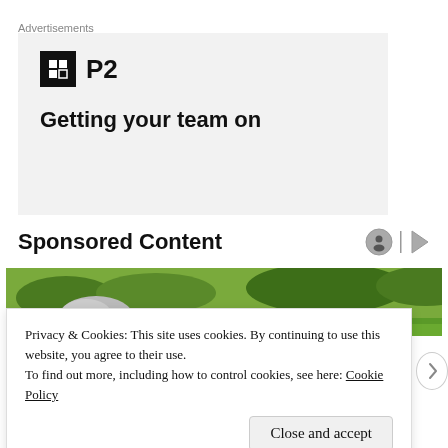Advertisements
[Figure (other): Advertisement banner for P2 with logo icon and tagline 'Getting your team on']
Sponsored Content
[Figure (photo): Landscape photo showing green fields, rocks, and trees]
Privacy & Cookies: This site uses cookies. By continuing to use this website, you agree to their use.
To find out more, including how to control cookies, see here: Cookie Policy
Close and accept